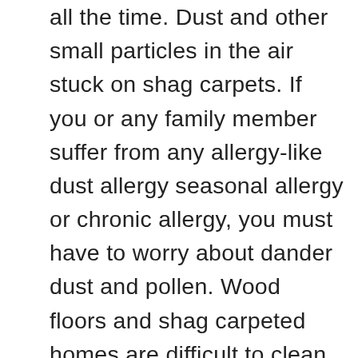all the time. Dust and other small particles in the air stuck on shag carpets. If you or any family member suffer from any allergy-like dust allergy seasonal allergy or chronic allergy, you must have to worry about dander dust and pollen. Wood floors and shag carpeted homes are difficult to clean.  Carpets intake dust which is very dangerous for babies or allergies patients too. Also, the pet hairs stuck on carpets and it's difficult to take them out with cleaning brush and it also harmful for allergy patients. So a powerful vacuum cleaner minimizing dust and other triggers to keeping the allergies under control. Here's we enlist the best 5 vacuum